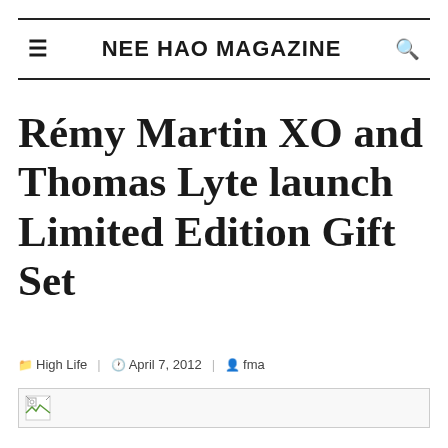NEE HAO MAGAZINE
Rémy Martin XO and Thomas Lyte launch Limited Edition Gift Set
High Life  April 7, 2012  fma
[Figure (photo): Broken/missing image placeholder]